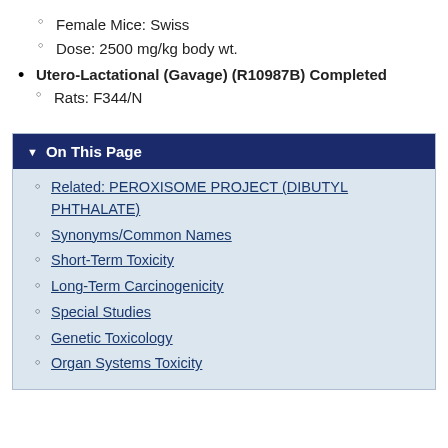Female Mice: Swiss
Dose: 2500 mg/kg body wt.
Utero-Lactational (Gavage) (R10987B) Completed
Rats: F344/N
On This Page
Related: PEROXISOME PROJECT (DIBUTYL PHTHALATE)
Synonyms/Common Names
Short-Term Toxicity
Long-Term Carcinogenicity
Special Studies
Genetic Toxicology
Organ Systems Toxicity